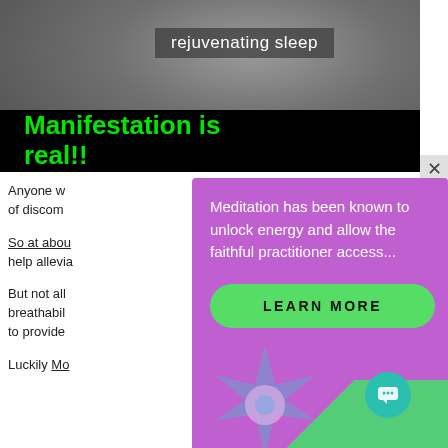[Figure (photo): Person sleeping in bed with gray fabric/blanket, with badge overlay reading 'rejuvenating sleep' and black bar with green bold text 'Manifestation is real!!']
Anyone w... of discom...
So at abou... help allevia...
But not all... breathabil... to provide...
Luckily Mo...
[Figure (infographic): Purple popup overlay with white text: 'Meditation has been known to unlock energy and allow the faithful practitioner access...' and a green 'LEARN MORE' button, with decorative shapes at bottom and teal chat icon]